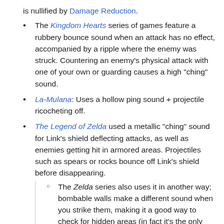is nullified by Damage Reduction.
The Kingdom Hearts series of games feature a rubbery bounce sound when an attack has no effect, accompanied by a ripple where the enemy was struck. Countering an enemy's physical attack with one of your own or guarding causes a high "ching" sound.
La-Mulana: Uses a hollow ping sound + projectile ricocheting off.
The Legend of Zelda used a metallic "ching" sound for Link's shield deflecting attacks, as well as enemies getting hit in armored areas. Projectiles such as spears or rocks bounce off Link's shield before disappearing.
The Zelda series also uses it in another way; bombable walls make a different sound when you strike them, making it a good way to check for hidden areas (in fact it's the only way to find completely hidden ones at all, since you're unlikely to spam bombs everywhere).